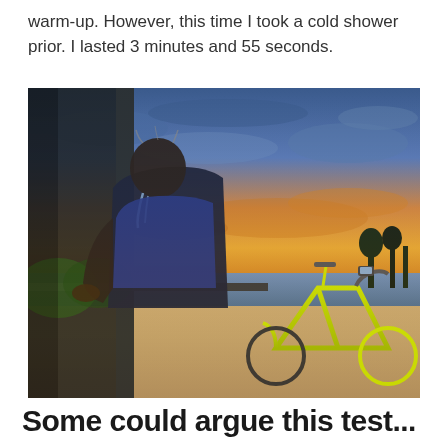warm-up. However, this time I took a cold shower prior. I lasted 3 minutes and 55 seconds.
[Figure (photo): A man leaning over an outdoor shower or tap at a beach, with water streaming from his hair and face. He is wearing a blue athletic shirt. In the background is a dramatic sunset sky with orange and blue clouds over the sea, a sandy beach, and a bright yellow-green road bicycle parked to the right.]
Some could argue this test...